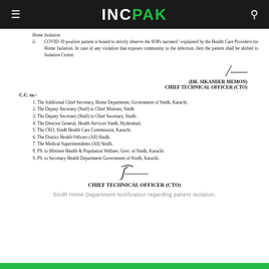INC PAK
Home Isolation
ii. COVID-19 positive patient is bound to strictly observe the SOPs narrated / explained by the Health Care Providers for Home Isolation. In case of any violation that exposes community to the infection, then the patient shall be shifted to Isolation Centre.
(DR. SIKANDER MEMON)
CHIEF TECHNICAL OFFICER (CTO)
C.C. to:-
1. The Additional Chief Secretary, Home Department, Government of Sindh, Karachi.
2. The Deputy Secretary (Staff) to Chief Minister, Sindh
3. The Deputy Secretary (Staff) to Chief Secretary, Sindh.
4. The Director General, Health Services Sindh, Hyderabad.
5. The CEO, Sindh Health Care Commission, Karachi.
6. The District Health Officers (All) Sindh.
7. The Medical Superintendents (All) Sindh.
8. PS. to Minister Health & Population Welfare, Govt. of Sindh, Karachi.
9. PS. to Secretary Health Department Government of Sindh, Karachi.
CHIEF TECHNICAL OFFICER (CTO)
Sindh Home Department Notification regarding patient isolation.